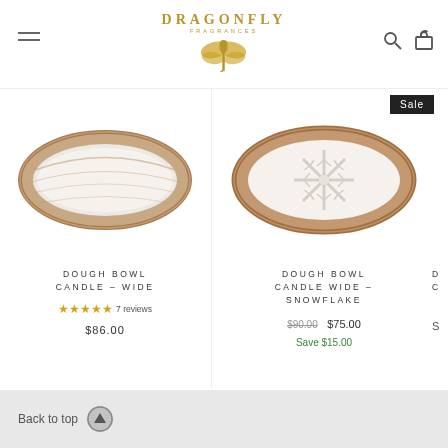DRAGONFLY FRAGRANCES
[Figure (photo): Dough Bowl Candle - Wide product photo showing oval wooden bowl candle]
DOUGH BOWL CANDLE – WIDE
★★★★★ 7 reviews
$86.00
[Figure (photo): Dough Bowl Candle Wide - Snowflake product photo showing oval wooden bowl with snowflake decoration, on sale]
DOUGH BOWL CANDLE WIDE – SNOWFLAKE
$90.00 $75.00
Save $15.00
Back to top